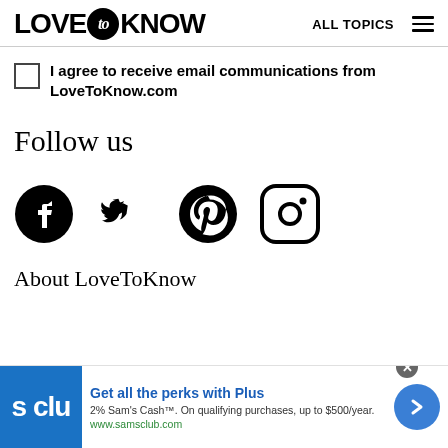LOVE to KNOW   ALL TOPICS
I agree to receive email communications from LoveToKnow.com
Follow us
[Figure (illustration): Social media icons: Facebook, Twitter, Pinterest, Instagram]
About LoveToKnow
[Figure (infographic): Advertisement banner: Sam's Club - Get all the perks with Plus. 2% Sam's Cash™. On qualifying purchases, up to $500/year. www.samsclub.com]